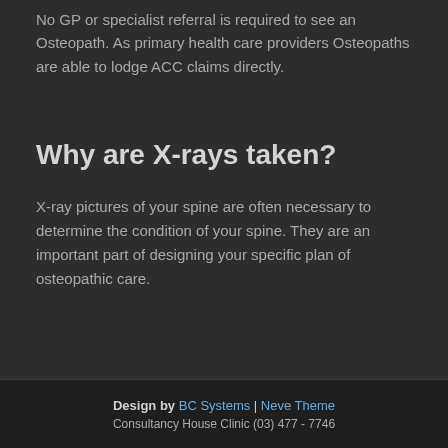No GP or specialist referral is required to see an Osteopath. As primary health care providers Osteopaths are able to lodge ACC claims directly.
Why are X-rays taken?
X-ray pictures of your spine are often necessary to determine the condition of your spine. They are an important part of designing your specific plan of osteopathic care.
Design by BC Systems | Neve Theme
Consultancy House Clinic (03) 477 - 7746